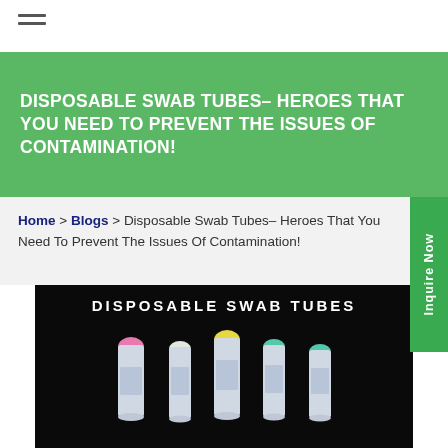≡ (hamburger menu icon)
DISPOSABLE SWAB TUBES– HEROES THAT YOU NEED TO PREVENT THE ISSUES OF CONTAMINATION!
Home > Blogs > Disposable Swab Tubes– Heroes That You Need To Prevent The Issues Of Contamination!
[Figure (photo): Product photo on black background showing multiple disposable swab tubes with colored caps (pink, white/clear, yellow, teal/green) arranged in a row, with text 'DISPOSABLE SWAB TUBES' at the top]